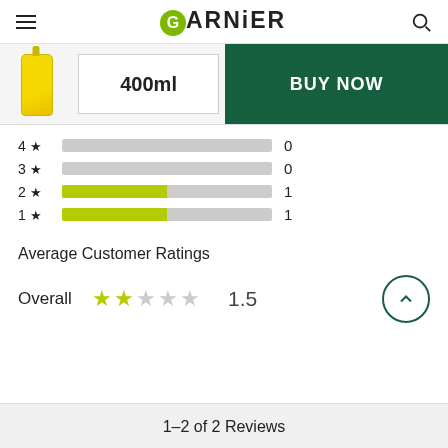GARNIER
[Figure (screenshot): Product image of Garnier bottle (400ml) with BUY NOW button]
| Stars | Bar | Count |
| --- | --- | --- |
| 4★ |  | 0 |
| 3★ |  | 0 |
| 2★ |  | 1 |
| 1★ |  | 1 |
Average Customer Ratings
Overall  1.5
1–2 of 2 Reviews